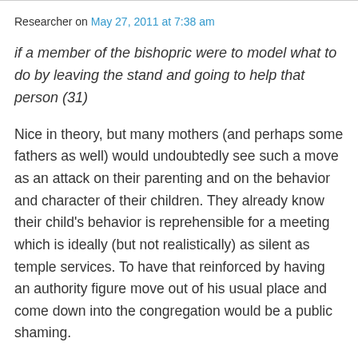Researcher on May 27, 2011 at 7:38 am
if a member of the bishopric were to model what to do by leaving the stand and going to help that person (31)
Nice in theory, but many mothers (and perhaps some fathers as well) would undoubtedly see such a move as an attack on their parenting and on the behavior and character of their children. They already know their child's behavior is reprehensible for a meeting which is ideally (but not realistically) as silent as temple services. To have that reinforced by having an authority figure move out of his usual place and come down into the congregation would be a public shaming.